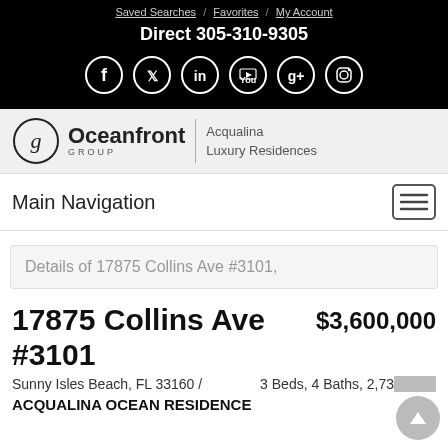Saved Searches / Favorites / My Account
Direct 305-310-9305
[Figure (logo): Oceanfront Group logo with social media icons (Facebook, Twitter, LinkedIn, YouTube, Google+, Instagram) in white circles on black background]
[Figure (logo): Oceanfront Group logo with circular G icon and text 'Acqualina Luxury Residences']
Main Navigation
Details of 17875 Collins Ave #3101,
17875 Collins Ave #3101
$3,600,000
Sunny Isles Beach, FL 33160 /
3 Beds, 4 Baths, 2,730 sq ft.
ACQUALINA OCEAN RESIDENCE